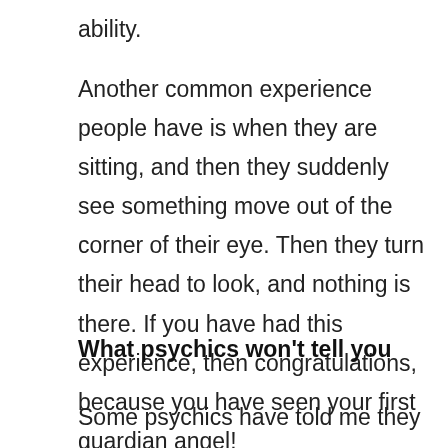ability.
Another common experience people have is when they are sitting, and then they suddenly see something move out of the corner of their eye. Then they turn their head to look, and nothing is there. If you have had this experience, then congratulations, because you have seen your first guardian angel!
What psychics won't tell you
Some psychics have told me they don't ever tell their clients that you can see your guardian